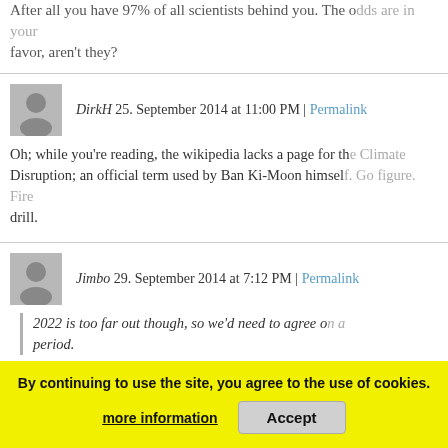After all you have 97% of all scientists behind you. The odds are in your favor, aren't they?
DirkH 25. September 2014 at 11:00 PM | Permalink
Oh; while you're reading, the wikipedia lacks a page for the Climate Disruption; an official term used by Ban Ki-Moon himself. Go figure. Fire drill.
Jimbo 29. September 2014 at 7:12 PM | Permalink
2022 is too far out though, so we'd need to agree on a shorter period.
Pierre, have you emailed Dr. Peter Wadhams. He says there will be an ice free Arctic no later than 2016. (See here).
Jimbo 29. September 2014 at 7:14 PM | Permalink
By continuing to use the site, you agree to the use of cookies.
more information
Accept